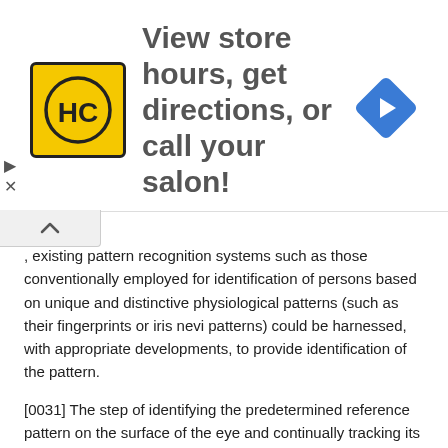[Figure (infographic): Advertisement banner: HC salon logo (yellow square with HC letters), text 'View store hours, get directions, or call your salon!', and a blue navigation arrow diamond icon on the right. Has collapse/close controls on the left side.]
existing pattern recognition systems such as those conventionally employed for identification of persons based on unique and distinctive physiological patterns (such as their fingerprints or iris nevi patterns) could be harnessed, with appropriate developments, to provide identification of the pattern.
[0031] The step of identifying the predetermined reference pattern on the surface of the eye and continually tracking its movement may be performed by capturing successive images of the eye and identifying in the images the predetermined reference pattern and its location and/or orientation. Where the pattern is in the form of a plurality of markings, tracking movement of the pattern may include identifying and tracking the plurality of markings, or specific portions of the markings. Again, such identification may be performed with conventional OCR means, DSP means, and/or pattern recognition systems, as hereinbefore described. The images may be captured at a frequency of 10 images per second, or higher.
[0032] The treatment calculated for a particular locus is typically performed